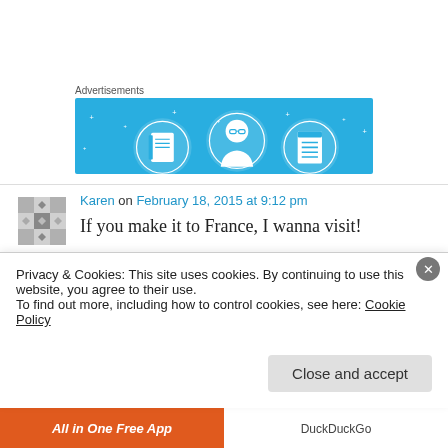Advertisements
[Figure (illustration): Advertisement banner with blue background showing three circular icons with notebook, person with glasses, and document list illustrations]
Karen on February 18, 2015 at 9:12 pm
If you make it to France, I wanna visit!
★ Like
Privacy & Cookies: This site uses cookies. By continuing to use this website, you agree to their use.
To find out more, including how to control cookies, see here: Cookie Policy
Close and accept
All in One Free App
DuckDuckGo